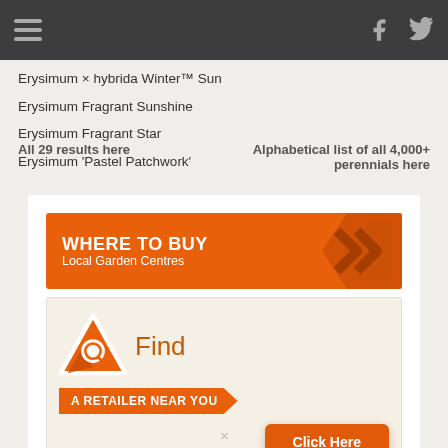Navigation bar with hamburger menu, Facebook and Twitter icons
Erysimum × hybrida Winter™ Sun
Erysimum Fragrant Sunshine
Erysimum Fragrant Star
Erysimum 'Pastel Patchwork'
All 29 results here     Alphabetical list of all 4,000+ perennials here
[Figure (infographic): WHERE TO BUY Local Garden Centres banner and Find A Retailer Near You with Click Here button]